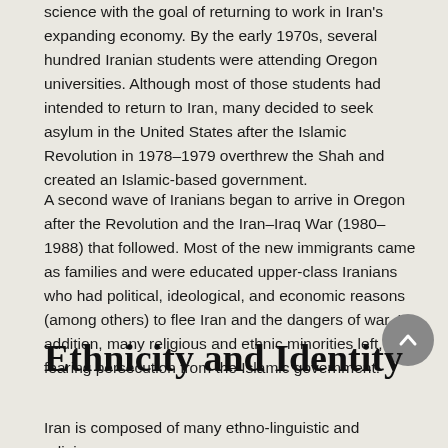science with the goal of returning to work in Iran's expanding economy. By the early 1970s, several hundred Iranian students were attending Oregon universities. Although most of those students had intended to return to Iran, many decided to seek asylum in the United States after the Islamic Revolution in 1978–1979 overthrew the Shah and created an Islamic-based government.
A second wave of Iranians began to arrive in Oregon after the Revolution and the Iran–Iraq War (1980–1988) that followed. Most of the new immigrants came as families and were educated upper-class Iranians who had political, ideological, and economic reasons (among others) to flee Iran and the dangers of war. In addition, many religious and ethnic minorities left, fearing persecution from the Islamic government.
Ethnicity and Identity
Iran is composed of many ethno-linguistic and religious